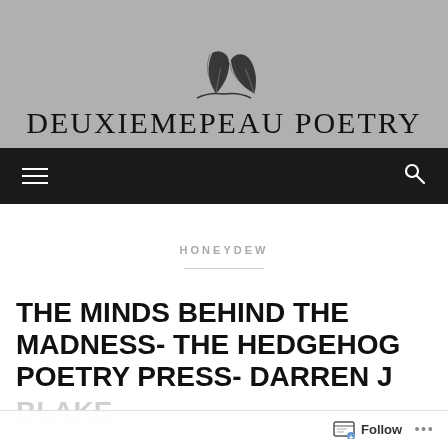DEUXIEMEPEAU POETRY
[Figure (logo): Two crossed feather quill pen logos above the site title on a grey background]
HONEYDEW
THE MINDS BEHIND THE MADNESS- THE HEDGEHOG POETRY PRESS- DARREN J BLA...